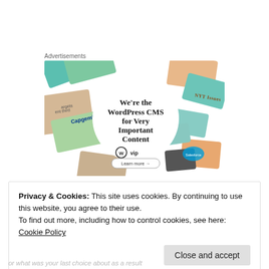Advertisements
[Figure (illustration): WordPress VIP advertisement banner showing brand name cards (Meta, Facebook, Capgemini, Salesforce, etc.) arranged around a white circle with text: We're the WordPress CMS for Very Important Content, WordPress VIP logo, and a Learn more button.]
Privacy & Cookies: This site uses cookies. By continuing to use this website, you agree to their use.
To find out more, including how to control cookies, see here: Cookie Policy
Close and accept
or what was your last choice about as a result